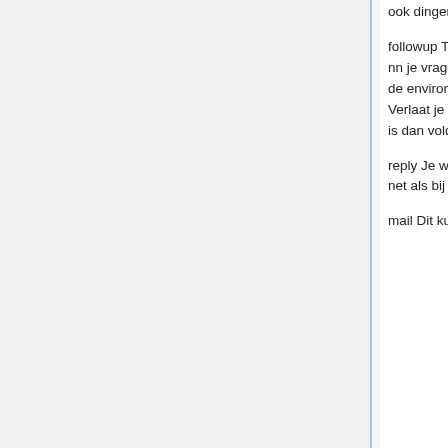ook dingen posten! Nn maakt onderscheid tussen vier dingen:
followup Terwijl je een bericht leest, wil je erop antwoorden in de nieuwsgroep. Als je <f> drukt, zal nn je vragen of je het originele artikel wilt includen, en zal je favoriete editor (die je kunt zetten met de environment variable EDITOR in de shell) opstarten, waarna je naar hartelust kunt gaan typen. Verlaat je editor alsof je het bericht wilt wegschrijven, en nn zal vragen of je het wilt posten. <return> is dan voldoende om het bericht te versturen.
reply Je wilt op het bericht dat je leest antwoorden naar de schrijver ervan. Druk de <r> en het zal net als bij de followup gebeuren.
mail Dit kun je gebruiken om een leuk bericht door te sturen naar iemand